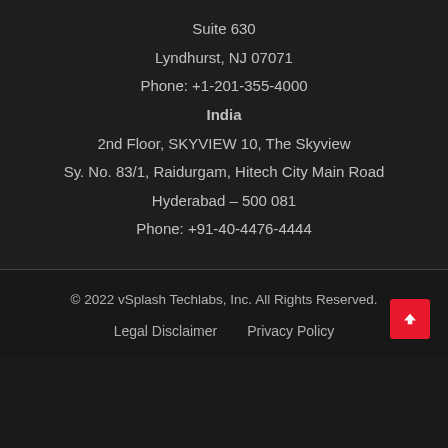Suite 630
Lyndhurst, NJ 07071
Phone: +1-201-355-4000
India
2nd Floor, SKYVIEW 10, The Skyview
Sy. No. 83/1, Raidurgam, Hitech City Main Road
Hyderabad – 500 081
Phone: +91-40-4476-4444
© 2022 vSplash Techlabs, Inc. All Rights Reserved.
Legal Disclaimer  Privacy Policy